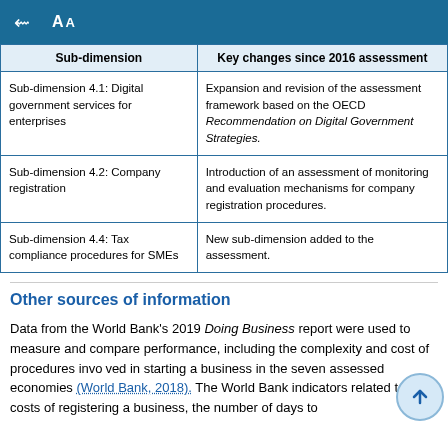| Sub-dimension | Key changes since 2016 assessment |
| --- | --- |
| Sub-dimension 4.1: Digital government services for enterprises | Expansion and revision of the assessment framework based on the OECD Recommendation on Digital Government Strategies. |
| Sub-dimension 4.2: Company registration | Introduction of an assessment of monitoring and evaluation mechanisms for company registration procedures. |
| Sub-dimension 4.4: Tax compliance procedures for SMEs | New sub-dimension added to the assessment. |
Other sources of information
Data from the World Bank's 2019 Doing Business report were used to measure and compare performance, including the complexity and cost of procedures involved in starting a business in the seven assessed economies (World Bank, 2018). The World Bank indicators related to the costs of registering a business, the number of days to